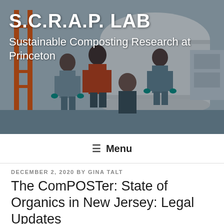[Figure (photo): Banner photo of students posing in front of large composting equipment. White cylindrical drum machine visible in background. Students wearing casual clothing and gloves. Orange ladder on left side.]
S.C.R.A.P. LAB
Sustainable Composting Research at Princeton
≡ Menu
DECEMBER 2, 2020 BY GINA TALT
The ComPOSTer: State of Organics in New Jersey: Legal Updates
Happy Holiday Season!
Before the Thanksgiving break, I attended the New Jersey Composting Council's annual Organics Waste Summit on November 19th. Included in the topics of the